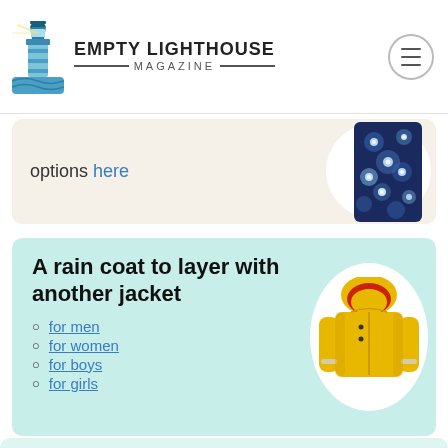Empty Lighthouse Magazine
options here
[Figure (photo): Floral navy and white patterned garment on oval white background]
A rain coat to layer with another jacket
for men
for women
for boys
for girls
[Figure (photo): Yellow children's rain coat with hood on oval white background]